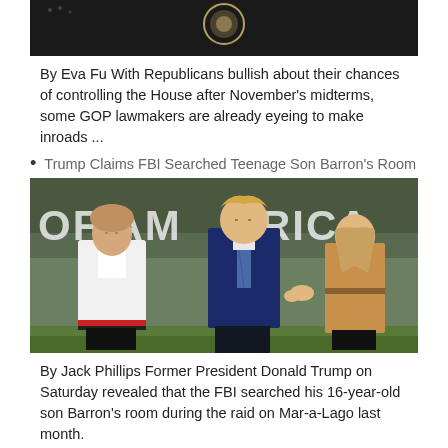[Figure (photo): Top portion of a photo showing a helicopter with a presidential seal against a dark background]
By Eva Fu With Republicans bullish about their chances of controlling the House after November's midterms, some GOP lawmakers are already eyeing to make inroads ...
Trump Claims FBI Searched Teenage Son Barron's Room
[Figure (photo): Photo of Barron Trump in white jacket, Donald Trump in navy suit, and Melania Trump in tan outfit walking on grass in front of a Marine One helicopter with text OF AMERICA visible]
By Jack Phillips Former President Donald Trump on Saturday revealed that the FBI searched his 16-year-old son Barron's room during the raid on Mar-a-Lago last month.